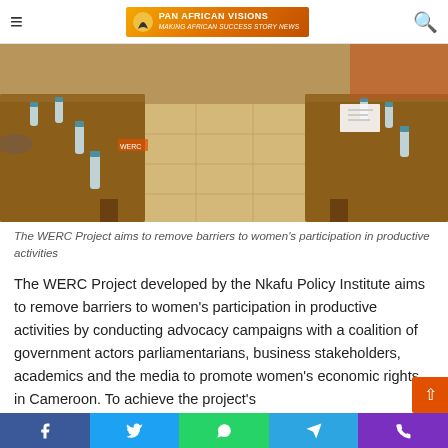Pan African Visions — Making African Success Story News
[Figure (photo): A conference room with a long wooden table, water bottles, papers, and people seated around it.]
The WERC Project aims to remove barriers to women's participation in productive activities
The WERC Project developed by the Nkafu Policy Institute aims to remove barriers to women's participation in productive activities by conducting advocacy campaigns with a coalition of government actors parliamentarians, business stakeholders, academics and the media to promote women's economic rights in Cameroon. To achieve the project's
Social share bar: Facebook, Twitter, WhatsApp, Telegram, Phone